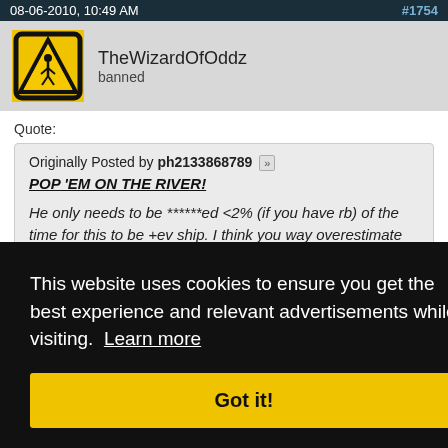08-06-2010, 10:49 AM   #1754
TheWizardOfOddz
banned
Quote:
Originally Posted by ph2133868789
POP 'EM ON THE RIVER!

He only needs to be ******ed <2% (if you have rb) of the time for this to be +ev ship. I think you way overestimate 50nl fish.
This website uses cookies to ensure you get the best experience and relevant advertisements while visiting. Learn more
Got it!
#1755